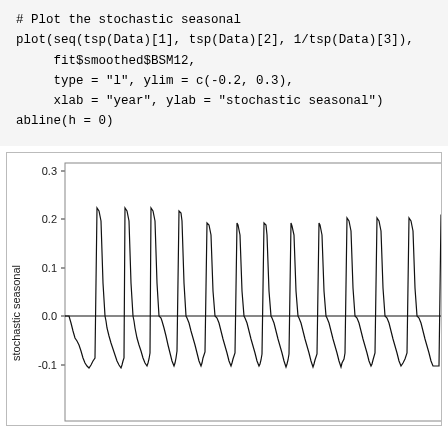# Plot the stochastic seasonal
plot(seq(tsp(Data)[1], tsp(Data)[2], 1/tsp(Data)[3]),
     fit$smoothed$BSM12,
     type = "l", ylim = c(-0.2, 0.3),
     xlab = "year", ylab = "stochastic seasonal")
abline(h = 0)
[Figure (continuous-plot): Line plot of stochastic seasonal component vs year. Y-axis ranges from about -0.1 to 0.3, with tick labels -0.1, 0.0, 0.1, 0.2, 0.3. The series shows repeated sharp upward spikes to ~0.2 with jagged troughs around -0.1, and a horizontal line at y=0. X-axis (year) is cut off at bottom.]